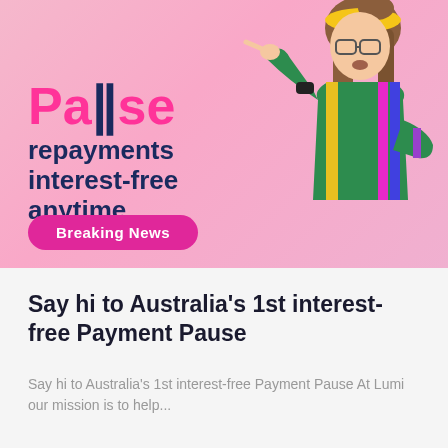[Figure (illustration): Pink background banner with a man in a colorful 80s-style tracksuit pointing, wearing glasses and a yellow headband. Large pink text reads 'Pause' with two vertical bars, followed by dark navy text 'repayments interest-free anytime'. A hot pink pill button reads 'Breaking News'.]
Say hi to Australia's 1st interest-free Payment Pause
Say hi to Australia's 1st interest-free Payment Pause At Lumi our mission is to help...